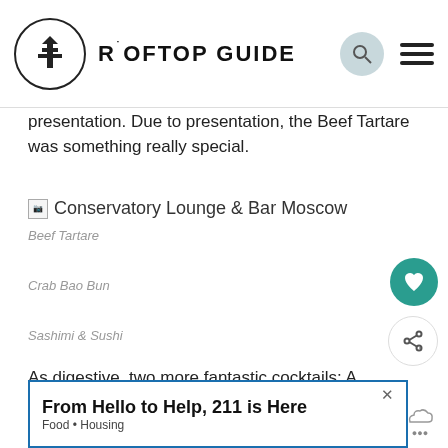ROOFTOP GUIDE
presentation. Due to presentation, the Beef Tartare was something really special.
[Figure (photo): Conservatory Lounge & Bar Moscow — broken image placeholder]
Beef Tartare
Crab Bao Bun
Sashimi & Sushi
As digestive, two more fantastic cocktails: A refreshing Seomra Heritage (Gin Monkey 47, lillet blanc, yuzu ju peach bitter, cucumber juice). Served with a side-slice of pa
[Figure (other): Advertisement: From Hello to Help, 211 is Here — Food • Housing]